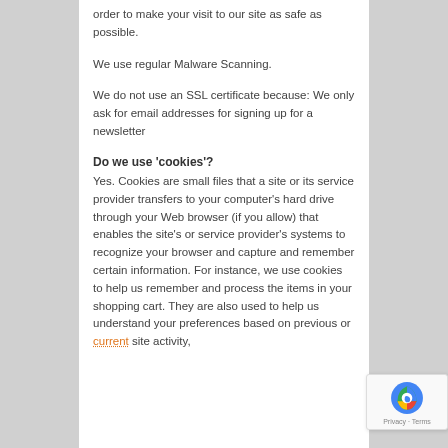order to make your visit to our site as safe as possible.
We use regular Malware Scanning.
We do not use an SSL certificate because: We only ask for email addresses for signing up for a newsletter
Do we use 'cookies'?
Yes. Cookies are small files that a site or its service provider transfers to your computer's hard drive through your Web browser (if you allow) that enables the site's or service provider's systems to recognize your browser and capture and remember certain information. For instance, we use cookies to help us remember and process the items in your shopping cart. They are also used to help us understand your preferences based on previous or current site activity,